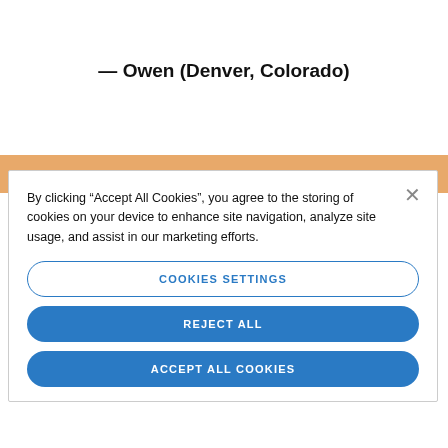— Owen (Denver, Colorado)
By clicking “Accept All Cookies”, you agree to the storing of cookies on your device to enhance site navigation, analyze site usage, and assist in our marketing efforts.
COOKIES SETTINGS
REJECT ALL
ACCEPT ALL COOKIES